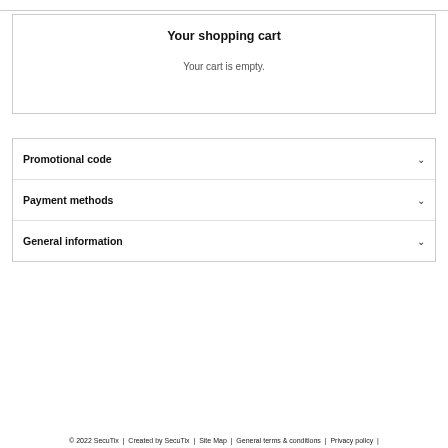Your shopping cart
Your cart is empty.
Promotional code
Payment methods
General information
© 2022 SecuTix  |  Created by SecuTix  |  Site Map  |  General terms & conditions  |  Privacy policy  |